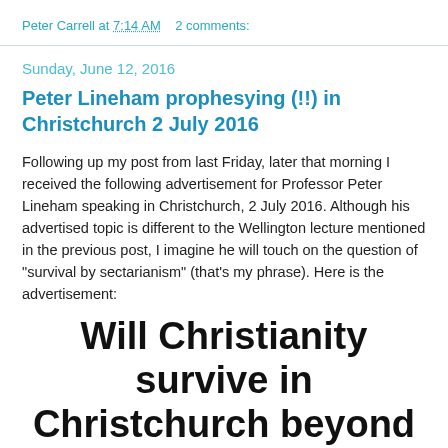Peter Carrell at 7:14 AM   2 comments:
Sunday, June 12, 2016
Peter Lineham prophesying (!!) in Christchurch 2 July 2016
Following up my post from last Friday, later that morning I received the following advertisement for Professor Peter Lineham speaking in Christchurch, 2 July 2016. Although his advertised topic is different to the Wellington lecture mentioned in the previous post, I imagine he will touch on the question of "survival by sectarianism" (that's my phrase). Here is the advertisement:
Will Christianity survive in Christchurch beyond 2020?